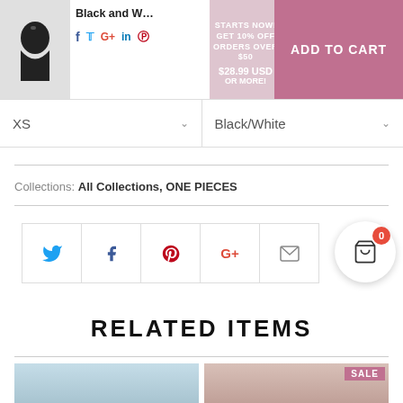Black and W... | $28.99 USD | SUMMER SALES STARTS NOW! GET 10% OFF ORDERS OVER $50 OR MORE! | ADD TO CART
XS | Black/White
Collections: All Collections, ONE PIECES
[Figure (other): Social share buttons: Twitter, Facebook, Pinterest, Google+, Email, and a shopping cart bubble with badge showing 0]
RELATED ITEMS
[Figure (photo): Two product images at bottom: a swimsuit model photo on left, and a blurred image with SALE badge on right]